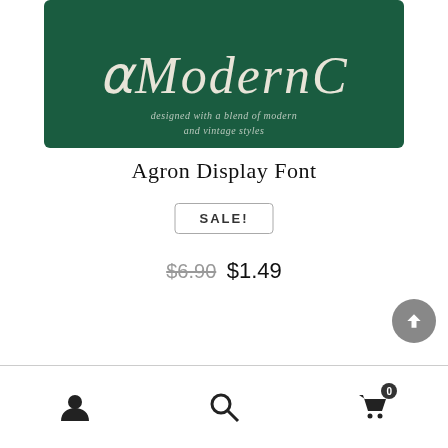[Figure (illustration): Dark green banner showing decorative display font letters in cream/off-white with subtitle text reading 'designed with a blend of modern and vintage styles']
Agron Display Font
SALE!
$6.90  $1.49
User icon, Search icon, Cart icon with badge 0